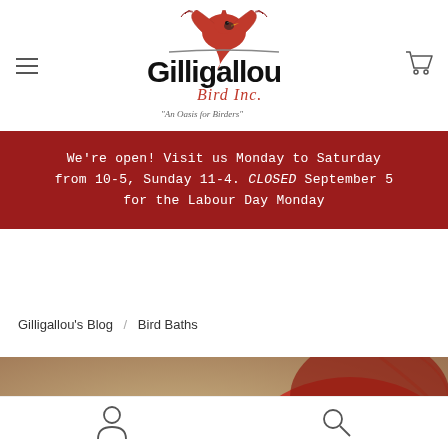Gilligallou Bird Inc. - An Oasis for Birders
We're open! Visit us Monday to Saturday from 10-5, Sunday 11-4. CLOSED September 5 for the Labour Day Monday
Gilligallou's Blog / Bird Baths
[Figure (photo): Close-up photo of a red cardinal bird against a tan/brown background]
User account and search icons